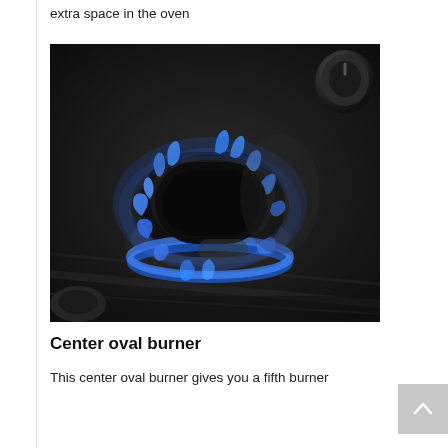extra space in the oven
[Figure (photo): Close-up photo of a center oval gas burner on a stainless steel cooktop, with blue flames surrounding a black oval burner grate. A control knob is visible in the upper right corner.]
Center oval burner
This center oval burner gives you a fifth burner